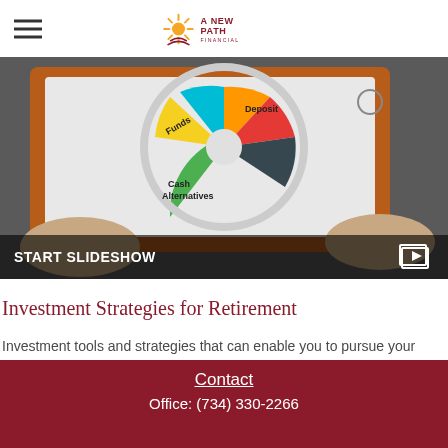A New Path Financial (logo with hamburger menu)
[Figure (photo): Hands holding a tablet or board showing an investment allocation wheel/spinner with segments labeled Funds, Deposit, Cash Alternatives. Text overlay at bottom reads START SLIDESHOW with a video/slideshow icon on the right.]
Investment Strategies for Retirement
Investment tools and strategies that can enable you to pursue your retirement goals.
Contact
Office: (734) 330-2266